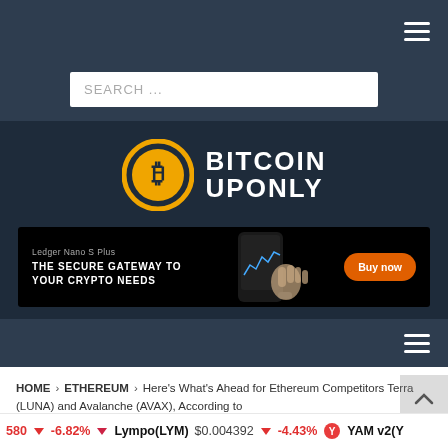Bitcoin Uponly - navigation header with hamburger menu
SEARCH ...
[Figure (logo): Bitcoin Uponly logo: gold Bitcoin circle icon with B symbol, white bold text BITCOIN UPONLY]
[Figure (infographic): Ledger Nano S Plus advertisement banner. Text: Ledger Nano S Plus, THE SECURE GATEWAY TO YOUR CRYPTO NEEDS. Orange Buy now button on right. Device image in center.]
Ticker bar: -6.82% | Lympo(LYM) $0.004392 -4.43% | YAM v2(Y...
HOME > ETHEREUM > Here's What's Ahead for Ethereum Competitors Terra (LUNA) and Avalanche (AVAX), According to Crypto Strategist